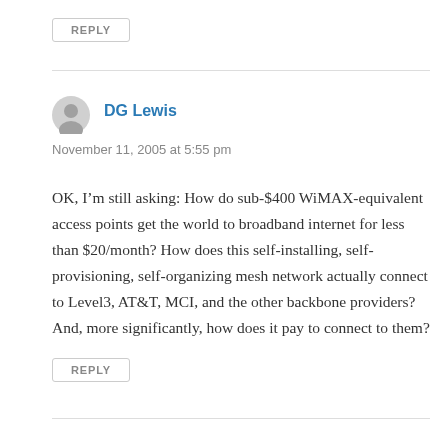REPLY
DG Lewis
November 11, 2005 at 5:55 pm
OK, I’m still asking: How do sub-$400 WiMAX-equivalent access points get the world to broadband internet for less than $20/month? How does this self-installing, self-provisioning, self-organizing mesh network actually connect to Level3, AT&T, MCI, and the other backbone providers? And, more significantly, how does it pay to connect to them?
REPLY